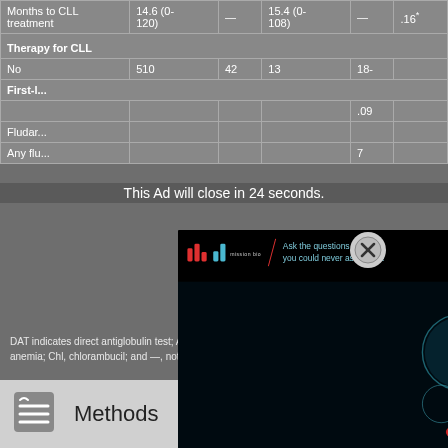|  | Value 1 |  | Value 2 |  | p |
| --- | --- | --- | --- | --- | --- |
| Months to CLL treatment | 14.6 (0-120) | — | 15.4 (0-108) | — | .16* |
| Therapy for CLL |  |  |  |  |  |
| No | 510 | 42 | 13 | 18- |  |
| First-l... |  |  |  |  |  |
|  |  |  |  | .09 |  |
| Fludar... |  |  |  |  |  |
| Any flu... |  |  |  | 7 |  |
[Figure (advertisement): Mission Bio advertisement overlay with dark background showing microscopy image of cells. Text reads: 'Ask the questions you could never ask before' and 'How can I predict AML outcomes from a single cell?' with Mission Bio logo. Ad countdown: 'This Ad will close in 24 seconds.']
DAT indicates direct antiglobulin test; AHA, autoimmune hemolytic anemia; Chl, chlorambucil; and —, not applicable.
Methods